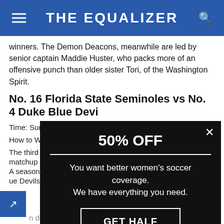THE EQUALIZER
winners. The Demon Deacons, meanwhile are led by senior captain Maddie Huster, who packs more of an offensive punch than older sister Tori, of the Washington Spirit.
No. 16 Florida State Seminoles vs No. 4 Duke Blue Devils
Time: Sunday, O...
How to Watch:
The third game... matchup featu... A season ago, t... ue Devils bot... n during the regular season, and advancing on...
[Figure (screenshot): Modal popup ad with black background showing '50% OFF' promotion. Text reads: 'You want better women's soccer coverage. We have everything you need.' with a 'GET HALF OFF' button and an X close button.]